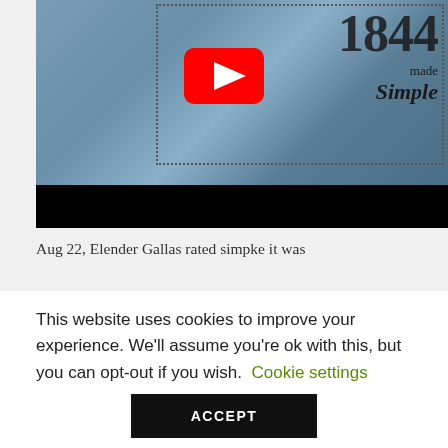[Figure (screenshot): YouTube video thumbnail showing '1844 made Simple' with a YouTube play button overlay and a dotted rectangle border, over a blurred indoor background. Black bar at bottom of video.]
Aug 22, Elender Gallas rated simpke it was
This website uses cookies to improve your experience. We'll assume you're ok with this, but you can opt-out if you wish. Cookie settings
ACCEPT